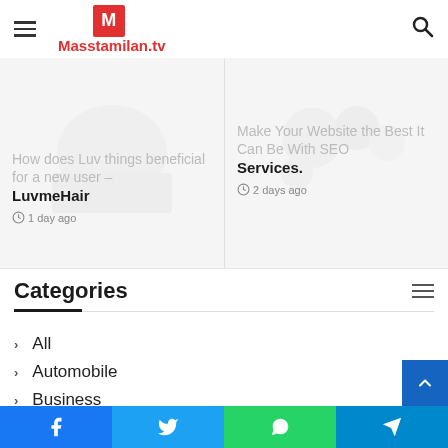Masstamilan.tv
How does Luv things beneficial for a new user – LuvmeHair · 1 day ago
Make Your Website the Best It Can Be With SEO Services. · 2 days ago
Categories
All
Automobile
Business
Celebrity
Digital Marketing
Home
Facebook  Twitter  WhatsApp  Telegram